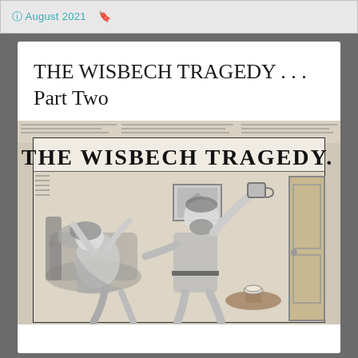August 2021 · 4
THE WISBECH TRAGEDY . . . Part Two
[Figure (illustration): A Victorian newspaper illustration showing a dramatic scene titled 'THE WISBECH TRAGEDY.' depicting a bearded man raising an object threateningly over a woman who is recoiling in a chair, with a small round table nearby holding a teacup, set in a Victorian interior.]